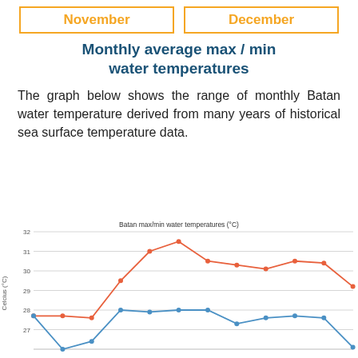November | December
Monthly average max / min water temperatures
The graph below shows the range of monthly Batan water temperature derived from many years of historical sea surface temperature data.
[Figure (line-chart): Batan max/min water temperatures (°C)]